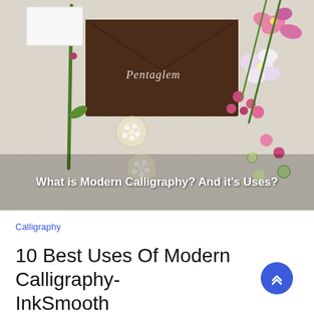[Figure (photo): A flat-lay photo on a linen background showing a brown envelope with calligraphy script, pearl brooches, pink and white flowers, and a green stem. Overlaid text reads: 'What is Modern Calligraphy? And it's Uses?']
Calligraphy
10 Best Uses Of Modern Calligraphy- InkSmooth